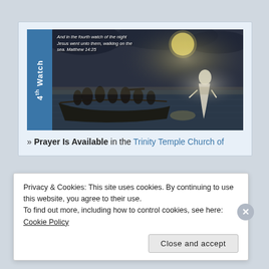[Figure (illustration): A religious illustration showing Jesus walking on water toward a boat full of disciples at night. A blue sidebar on the left reads '4th Watch' vertically. Scripture text overlay reads: 'And in the fourth watch of the night Jesus went unto them, walking on the sea. Matthew 14:25']
» Prayer Is Available in the Trinity Temple Church of
Privacy & Cookies: This site uses cookies. By continuing to use this website, you agree to their use.
To find out more, including how to control cookies, see here: Cookie Policy
Close and accept